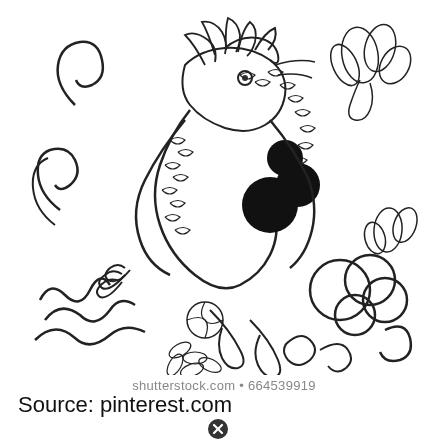[Figure (illustration): Black and white line art illustration of a Chinese/Japanese style dragon with scales, claws, surrounded by lotus flowers, chrysanthemums, stylized clouds and waves in a tattoo design style.]
shutterstock.com • 664539919
Source: pinterest.com